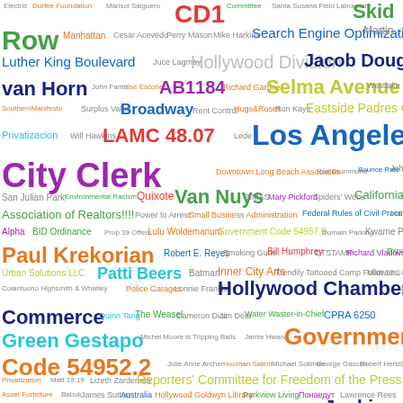[Figure (infographic): Word cloud containing Los Angeles government-related terms, organizations, people, and concepts in various colors and font sizes. Largest terms include 'Los Angeles City Clerk', 'Hollywood Chamber of Commerce', 'Government Code 54952.2', 'Van Nuys', 'Paul Krekorian', 'Green Gestapo', 'Skid Row', 'LAMC 48.07', 'CD1', 'Reporters Committee for Freedom of the Press', 'Jacob Douglas van Horn', 'Selma Avenue', 'Hollywood Division', 'Broadway', 'Eastside Padres Contra La Privatizacion', 'AB1184', 'Patti Beers', 'Jackie Lawson', 'Appellate Court', and many smaller terms.]